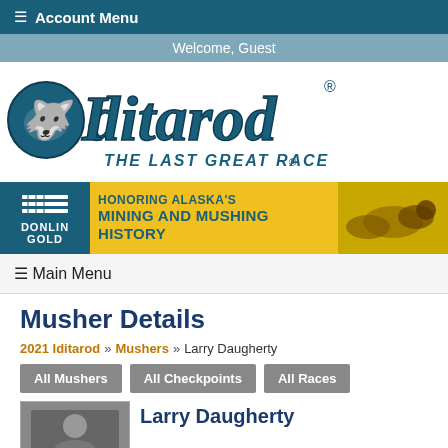☰ Account Menu
Welcome, Guest
[Figure (logo): Iditarod THE LAST GREAT RACE logo with husky dog]
[Figure (infographic): Donlin Gold banner: HONORING ALASKA'S MINING AND MUSHING HISTORY with sled dogs]
☰ Main Menu
Musher Details
2021 Iditarod » Mushers » Larry Daugherty
All Mushers
All Checkpoints
All Races
Larry Daugherty
[Figure (photo): Musher photo thumbnail]